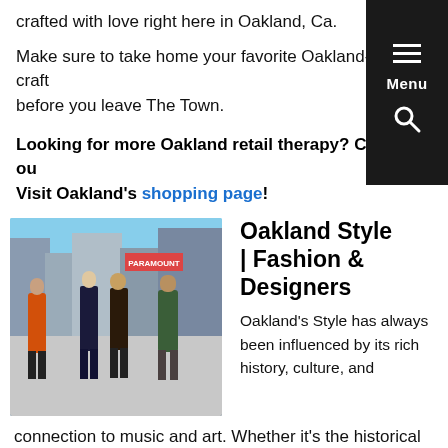crafted with love right here in Oakland, Ca.
Make sure to take home your favorite Oakland-made craft before you leave The Town.
Looking for more Oakland retail therapy? Check out Visit Oakland's shopping page!
[Figure (photo): Four people standing on a city street in Oakland, with storefronts and signs visible in the background. They are dressed in various styles of clothing.]
Oakland Style | Fashion & Designers
Oakland's Style has always been influenced by its rich history, culture, and connection to music and art. Whether it's the historical significance of a black beret or MC Hammer's legendary parachute pants, Oakland has always used clothing to express a message. Explore Oakland's fashion scene through different themes showcasing unique styles and the